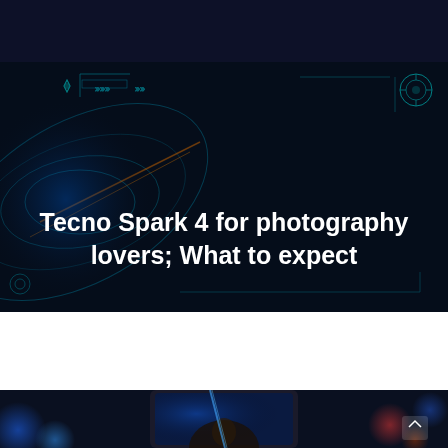[Figure (screenshot): Dark navy navigation bar at top of webpage]
[Figure (photo): Dark tech-themed hero banner with HUD/circuit overlay graphics, swirling blue light patterns, and targeting reticle elements on a near-black background]
Tecno Spark 4 for photography lovers; What to expect
[Figure (photo): Partial view of a smartphone (Tecno Spark 4) against a bokeh background with blue and red light circles, person silhouette visible on the phone screen]